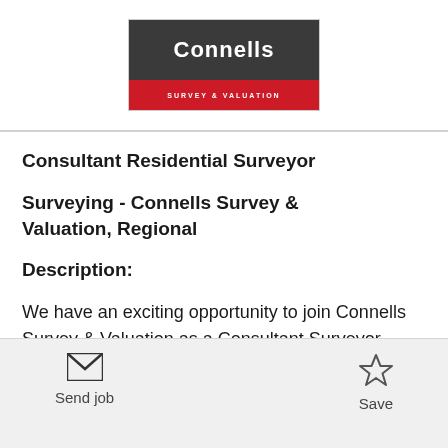[Figure (logo): Connells Survey & Valuation logo: dark grey background with white 'Connells' text on top, red banner with white 'SURVEY & VALUATION' text below]
Consultant Residential Surveyor
Surveying - Connells Survey & Valuation, Regional
Description:
We have an exciting opportunity to join Connells Survey & Valuation as a Consultant Surveyor within a leading surveying and valuation panel management